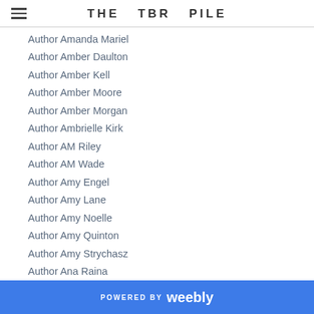THE TBR PILE
Author Amanda Mariel
Author Amber Daulton
Author Amber Kell
Author Amber Moore
Author Amber Morgan
Author Ambrielle Kirk
Author AM Riley
Author AM Wade
Author Amy Engel
Author Amy Lane
Author Amy Noelle
Author Amy Quinton
Author Amy Strychasz
Author Ana Raina
Author Andi Bremner
Author Andra Lake
Author Andrea Downing
POWERED BY weebly